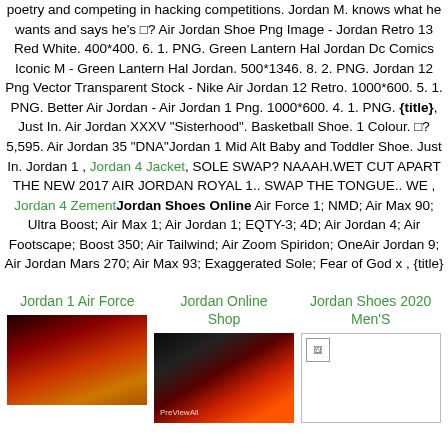poetry and competing in hacking competitions. Jordan M. knows what he wants and says he's □? Air Jordan Shoe Png Image - Jordan Retro 13 Red White. 400*400. 6. 1. PNG. Green Lantern Hal Jordan Dc Comics Iconic M - Green Lantern Hal Jordan. 500*1346. 8. 2. PNG. Jordan 12 Png Vector Transparent Stock - Nike Air Jordan 12 Retro. 1000*600. 5. 1. PNG. Better Air Jordan - Air Jordan 1 Png. 1000*600. 4. 1. PNG. {title}, Just In. Air Jordan XXXV "Sisterhood". Basketball Shoe. 1 Colour. □?5,595. Air Jordan 35 "DNA"Jordan 1 Mid Alt Baby and Toddler Shoe. Just In. Jordan 1 , Jordan 4 Jacket, SOLE SWAP? NAAAH.WET CUT APART THE NEW 2017 AIR JORDAN ROYAL 1.. SWAP THE TONGUE.. WE , Jordan 4 ZementJordan Shoes Online Air Force 1; NMD; Air Max 90; Ultra Boost; Air Max 1; Air Jordan 1; EQTY-3; 4D; Air Jordan 4; Air Footscape; Boost 350; Air Tailwind; Air Zoom Spiridon; OneAir Jordan 9; Air Jordan Mars 270; Air Max 93; Exaggerated Sole; Fear of God x , {title}
Jordan 1 Air Force
Jordan Online Shop
Jordan Shoes 2020 Men'S
[Figure (photo): Photo of Jordan 1 Air Force shoe sole, reddish-brown tones on black background]
[Figure (photo): Dark photo with red/orange lighting, appears to be a Jordan shoe store or display]
[Figure (photo): Small white broken image placeholder]